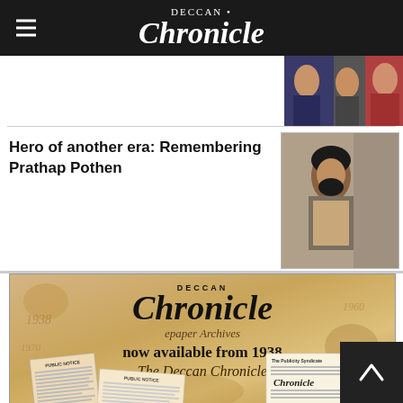Deccan Chronicle
[Figure (photo): Photo of people clapping, partially visible at top right]
Hero of another era: Remembering Prathap Pothen
[Figure (photo): Portrait photo of Prathap Pothen seated]
[Figure (photo): Deccan Chronicle epaper Archives advertisement - now available from 1938, showing old newspaper clippings and The Deccan Chronicle masthead]